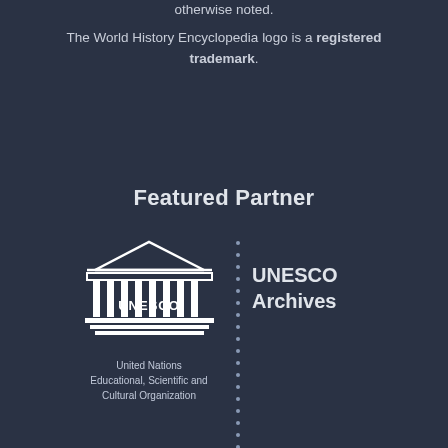otherwise noted.
The World History Encyclopedia logo is a registered trademark.
Featured Partner
[Figure (logo): UNESCO logo with temple/columns illustration and text 'United Nations Educational, Scientific and Cultural Organization', with a dotted vertical divider and 'UNESCO Archives' text to the right]